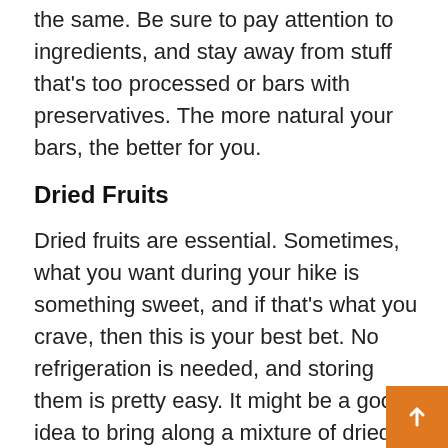the same. Be sure to pay attention to ingredients, and stay away from stuff that's too processed or bars with preservatives. The more natural your bars, the better for you.
Dried Fruits
Dried fruits are essential. Sometimes, what you want during your hike is something sweet, and if that's what you crave, then this is your best bet. No refrigeration is needed, and storing them is pretty easy. It might be a good idea to bring along a mixture of dried fruit, from grapes to mangoes. You'll be surprised how happy you'll be if you have a lot